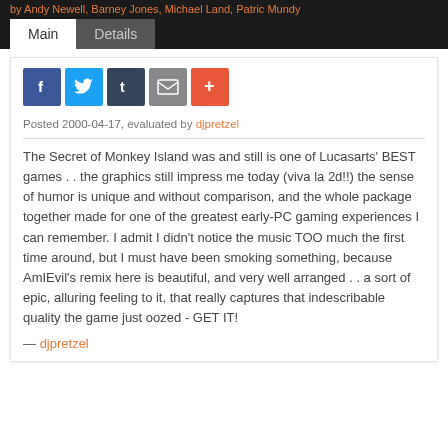by Andy Newell, Barney Jones, Michael Land, Patric Mundy
Main   Details
[Figure (other): Social sharing buttons: Facebook (blue), Twitter (light blue), Tumblr (dark blue-grey), Email (grey), More/Plus (orange-red)]
Posted 2000-04-17, evaluated by djpretzel
The Secret of Monkey Island was and still is one of Lucasarts' BEST games . . the graphics still impress me today (viva la 2d!!) the sense of humor is unique and without comparison, and the whole package together made for one of the greatest early-PC gaming experiences I can remember. I admit I didn't notice the music TOO much the first time around, but I must have been smoking something, because AmIEvil's remix here is beautiful, and very well arranged . . a sort of epic, alluring feeling to it, that really captures that indescribable quality the game just oozed - GET IT!
— djpretzel